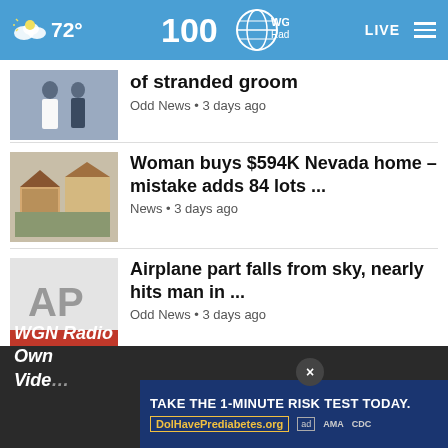72° WGN Radio 100 LIVE
of stranded groom
Odd News • 3 days ago
Woman buys $594K Nevada home – mistake adds 84 lots ...
News • 3 days ago
Airplane part falls from sky, nearly hits man in ...
Odd News • 3 days ago
View All Odd News ›
WGN Radio 720 - Chicago's Very Own Vide...
TAKE THE 1-MINUTE RISK TEST TODAY.
DolHavePrediabetes.org